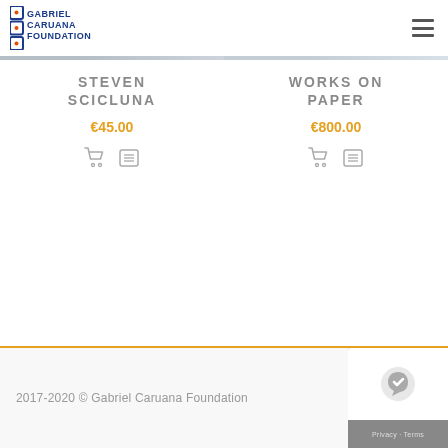Gabriel Caruana Foundation
STEVEN SCICLUNA
€45.00
WORKS ON PAPER
€800.00
2017-2020 © Gabriel Caruana Foundation